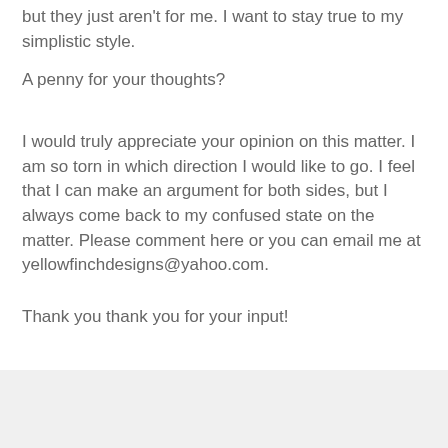but they just aren't for me. I want to stay true to my simplistic style.
A penny for your thoughts?
I would truly appreciate your opinion on this matter. I am so torn in which direction I would like to go. I feel that I can make an argument for both sides, but I always come back to my confused state on the matter. Please comment here or you can email me at yellowfinchdesigns@yahoo.com.
Thank you thank you for your input!
10 comments:
Kandice Breinholt October 5, 2012 at 10:39 PM
such a great outfit, liz!